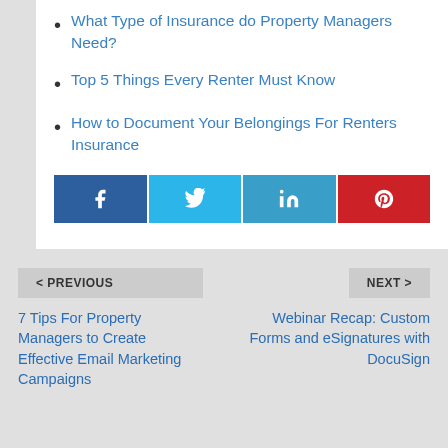What Type of Insurance do Property Managers Need?
Top 5 Things Every Renter Must Know
How to Document Your Belongings For Renters Insurance
[Figure (infographic): Social share buttons: Facebook (dark blue), Twitter (light blue), LinkedIn (teal blue), Pinterest (red)]
< PREVIOUS
7 Tips For Property Managers to Create Effective Email Marketing Campaigns
NEXT >
Webinar Recap: Custom Forms and eSignatures with DocuSign